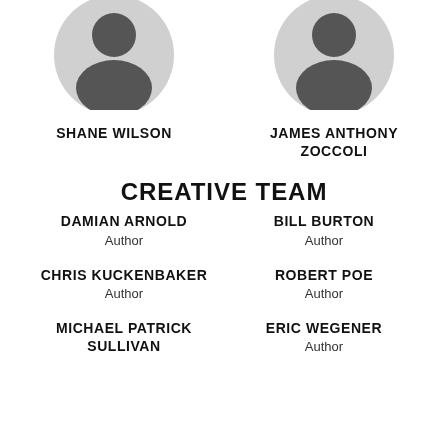[Figure (illustration): Generic person silhouette avatar placeholder for Shane Wilson]
SHANE WILSON
[Figure (illustration): Generic person silhouette avatar placeholder for James Anthony Zoccoli]
JAMES ANTHONY ZOCCOLI
CREATIVE TEAM
DAMIAN ARNOLD
Author
BILL BURTON
Author
CHRIS KUCKENBAKER
Author
ROBERT POE
Author
MICHAEL PATRICK SULLIVAN
ERIC WEGENER
Author